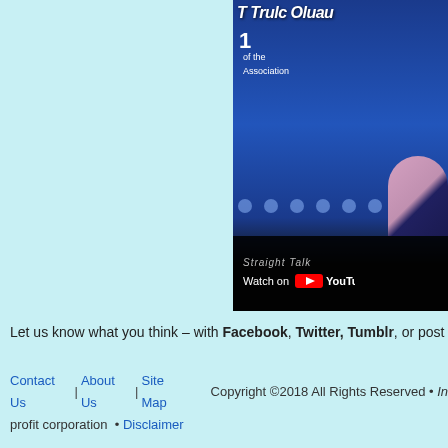[Figure (screenshot): YouTube video thumbnail showing a blue-background presentation with text and a person visible at bottom right, with 'Watch on YouTube' overlay control bar]
Let us know what you think – with Facebook, Twitter, Tumblr, or post a con
Contact Us | About Us | Site Map   Copyright ©2018 All Rights Reserved • In profit corporation • Disclaimer